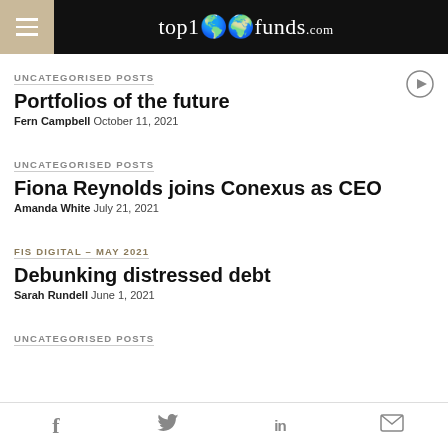top1000funds.com
UNCATEGORISED POSTS
Portfolios of the future
Fern Campbell October 11, 2021
UNCATEGORISED POSTS
Fiona Reynolds joins Conexus as CEO
Amanda White July 21, 2021
FIS DIGITAL – MAY 2021
Debunking distressed debt
Sarah Rundell June 1, 2021
UNCATEGORISED POSTS
f  Twitter  in  Email